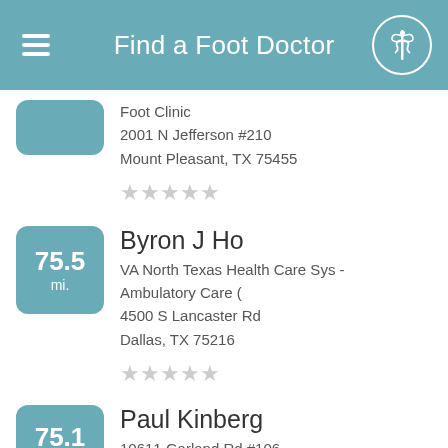Find a Foot Doctor
Foot Clinic
2001 N Jefferson #210
Mount Pleasant, TX 75455
★★★★★ (empty stars)
75.5 mi. — Byron J Ho
VA North Texas Health Care Sys - Ambulatory Care (
4500 S Lancaster Rd
Dallas, TX 75216
★★★★★ (empty stars)
75.1 mi. — Paul Kinberg
10611 Garland Rd #106
Dallas, TX 75218